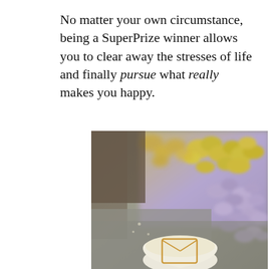No matter your own circumstance, being a SuperPrize winner allows you to clear away the stresses of life and finally pursue what really makes you happy.
[Figure (photo): Close-up photo showing a latte/coffee cup with latte art (appears to be an envelope/letter design in the foam) in the foreground, with colorful popcorn (yellow and purple/lavender pieces) blurred in the background.]